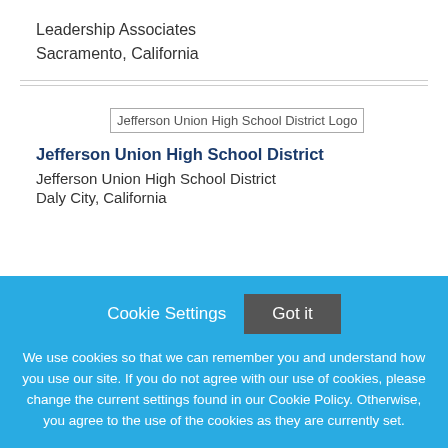Leadership Associates
Sacramento, California
[Figure (logo): Jefferson Union High School District Logo placeholder image]
Jefferson Union High School District
Jefferson Union High School District
Daly City, California
Cookie Settings  Got it
We use cookies so that we can remember you and understand how you use our site. If you do not agree with our use of cookies, please change the current settings found in our Cookie Policy. Otherwise, you agree to the use of the cookies as they are currently set.